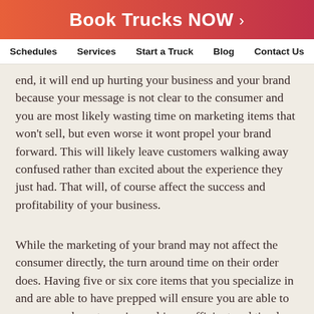Book Trucks NOW ›
Schedules   Services   Start a Truck   Blog   Contact Us
end, it will end up hurting your business and your brand because your message is not clear to the consumer and you are most likely wasting time on marketing items that won't sell, but even worse it wont propel your brand forward. This will likely leave customers walking away confused rather than excited about the experience they just had. That will, of course affect the success and profitability of your business.
While the marketing of your brand may not affect the consumer directly, the turn around time on their order does. Having five or six core items that you specialize in and are able to have prepped will ensure you are able to prepare each customer's meal in an efficient and timely manner. The pricing is another finite that can help to...